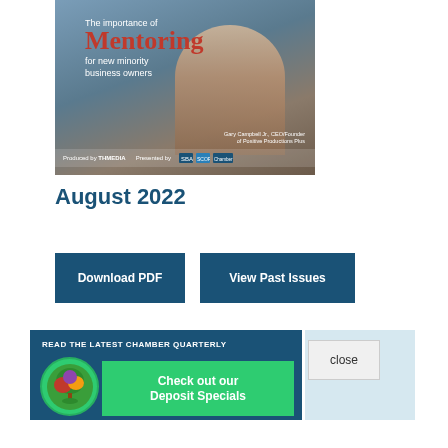[Figure (photo): Magazine cover showing a man seated, with text 'The importance of Mentoring for new minority business owners' and THMEDIA branding at the bottom]
August 2022
Download PDF
View Past Issues
READ THE LATEST CHAMBER QUARTERLY
Check out our Deposit Specials
close